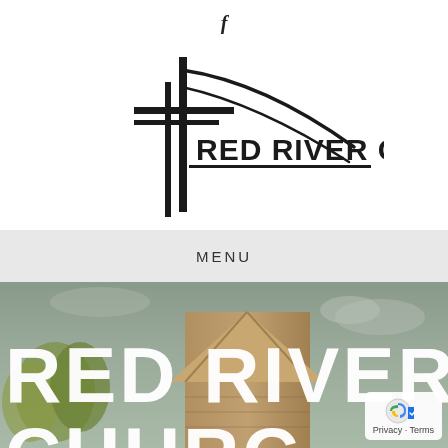[Figure (logo): Facebook 'f' icon at top center of page]
[Figure (logo): Red River Church logo — stylized cross/lines graphic with text 'RED RIVER CHURCH' in bold serif caps]
MENU
[Figure (photo): Photo of a church building exterior with peaked roof against an overcast sky, with trees visible. Large white bold text overlay reads 'RED RIVER CHURCH' in two lines (RED RIVER / CHURC...). A Google privacy badge appears in the bottom right corner.]